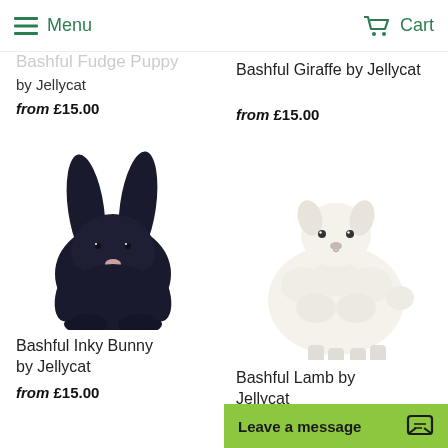Menu  Cart
Bashful Fudge Puppy by Jellycat
from £15.00
Bashful Giraffe by Jellycat
from £15.00
[Figure (photo): Dark navy/black plush bunny with long ears - Bashful Inky Bunny by Jellycat]
Bashful Inky Bunny by Jellycat
from £15.00
[Figure (photo): White fluffy lamb plush toy - Bashful Lamb by Jellycat]
Bashful Lamb by Jellycat
from £15.00
Leave a message